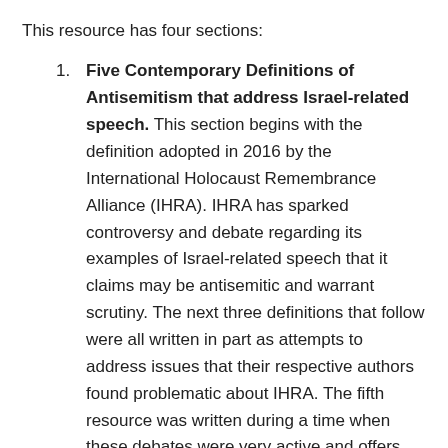This resource has four sections:
Five Contemporary Definitions of Antisemitism that address Israel-related speech. This section begins with the definition adopted in 2016 by the International Holocaust Remembrance Alliance (IHRA). IHRA has sparked controversy and debate regarding its examples of Israel-related speech that it claims may be antisemitic and warrant scrutiny. The next three definitions that follow were all written in part as attempts to address issues that their respective authors found problematic about IHRA. The fifth resource was written during a time when these debates were very active and offers yet another perspective.
A statement that Reconstructing Judaism